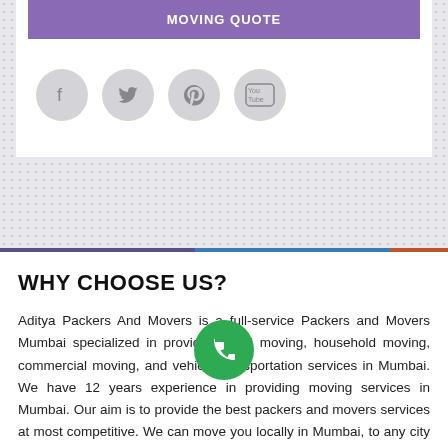[Figure (screenshot): Purple 'MOVING QUOTE' button at top of white card]
[Figure (infographic): Row of four social media icons: Facebook, Twitter, Pinterest, YouTube — gray circular buttons]
WHY CHOOSE US?
Aditya Packers And Movers is a full-service Packers and Movers Mumbai specialized in providing local moving, household moving, commercial moving, and vehicle transportation services in Mumbai. We have 12 years experience in providing moving services in Mumbai. Our aim is to provide the best packers and movers services at most competitive. We can move you locally in Mumbai, to any city in India and internationally. We are available 24/7 even on weekends and holidays. We are fully licensed and
[Figure (infographic): Green circular phone/call button overlaid on the text]